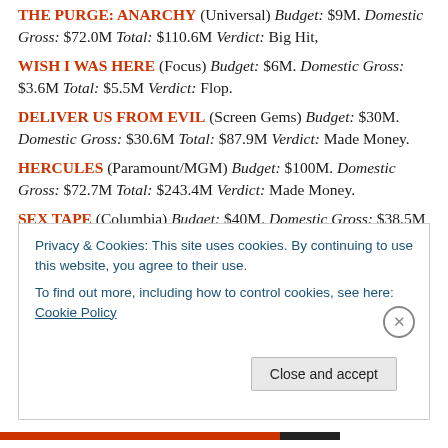THE PURGE: ANARCHY (Universal) Budget: $9M. Domestic Gross: $72.0M Total: $110.6M Verdict: Big Hit,
WISH I WAS HERE (Focus) Budget: $6M. Domestic Gross: $3.6M Total: $5.5M Verdict: Flop.
DELIVER US FROM EVIL (Screen Gems) Budget: $30M. Domestic Gross: $30.6M Total: $87.9M Verdict: Made Money.
HERCULES (Paramount/MGM) Budget: $100M. Domestic Gross: $72.7M Total: $243.4M Verdict: Made Money.
SEX TAPE (Columbia) Budget: $40M. Domestic Gross: $38.5M Total: $126.1M Verdict: Hit.
Privacy & Cookies: This site uses cookies. By continuing to use this website, you agree to their use. To find out more, including how to control cookies, see here: Cookie Policy